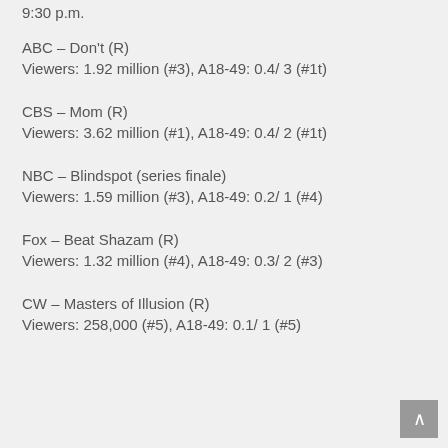9:30 p.m.
ABC – Don't (R)
Viewers: 1.92 million (#3), A18-49: 0.4/ 3 (#1t)
CBS – Mom (R)
Viewers: 3.62 million (#1), A18-49: 0.4/ 2 (#1t)
NBC – Blindspot (series finale)
Viewers: 1.59 million (#3), A18-49: 0.2/ 1 (#4)
Fox – Beat Shazam (R)
Viewers: 1.32 million (#4), A18-49: 0.3/ 2 (#3)
CW – Masters of Illusion (R)
Viewers: 258,000 (#5), A18-49: 0.1/ 1 (#5)